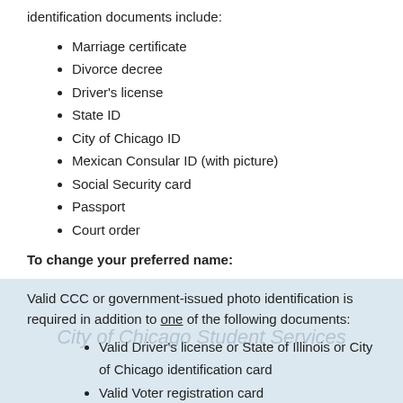identification documents include:
Marriage certificate
Divorce decree
Driver's license
State ID
City of Chicago ID
Mexican Consular ID (with picture)
Social Security card
Passport
Court order
To change your preferred name:
Fill out the preferred name form here and submit to the Registrar's Office.
To change your home address:
Valid CCC or government-issued photo identification is required in addition to one of the following documents:
Valid Driver's license or State of Illinois or City of Chicago identification card
Valid Voter registration card
Copy of current lease or mortgage statement